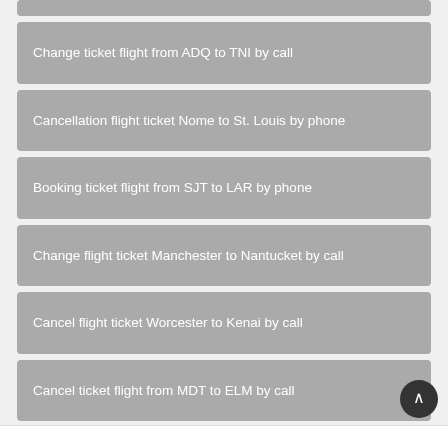Change ticket flight from ADQ to TNI by call
Cancellation flight ticket Nome to St. Louis by phone
Booking ticket flight from SJT to LAR by phone
Change flight ticket Manchester to Nantucket by call
Cancel flight ticket Worcester to Kenai by call
Cancel ticket flight from MDT to ELM by call